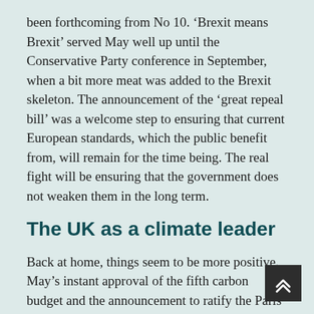been forthcoming from No 10. 'Brexit means Brexit' served May well up until the Conservative Party conference in September, when a bit more meat was added to the Brexit skeleton. The announcement of the 'great repeal bill' was a welcome step to ensuring that current European standards, which the public benefit from, will remain for the time being. The real fight will be ensuring that the government does not weaken them in the long term.
The UK as a climate leader
Back at home, things seem to be more positive. May's instant approval of the fifth carbon budget and the announcement to ratify the Paris agreement by the end of the